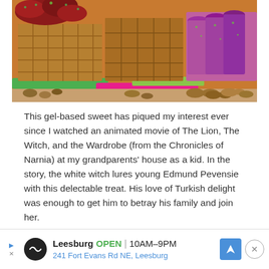[Figure (photo): Close-up photo of various Turkish delight confections displayed on a market stall, including cubes coated in nuts and rolled fruit leather pieces in red and purple colors, with green and pink trays visible.]
This gel-based sweet has piqued my interest ever since I watched an animated movie of The Lion, The Witch, and the Wardrobe (from the Chronicles of Narnia) at my grandparents' house as a kid. In the story, the white witch lures young Edmund Pevensie with this delectable treat. His love of Turkish delight was enough to get him to betray his family and join her.
Leesburg OPEN 10AM–9PM 241 Fort Evans Rd NE, Leesburg